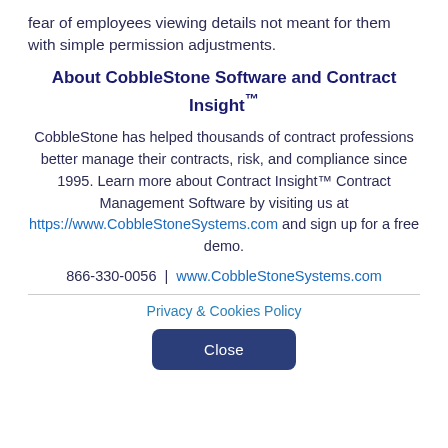fear of employees viewing details not meant for them with simple permission adjustments.
About CobbleStone Software and Contract Insight™
CobbleStone has helped thousands of contract professions better manage their contracts, risk, and compliance since 1995. Learn more about Contract Insight™ Contract Management Software by visiting us at https://www.CobbleStoneSystems.com and sign up for a free demo.
866-330-0056  |  www.CobbleStoneSystems.com
Privacy & Cookies Policy
Close